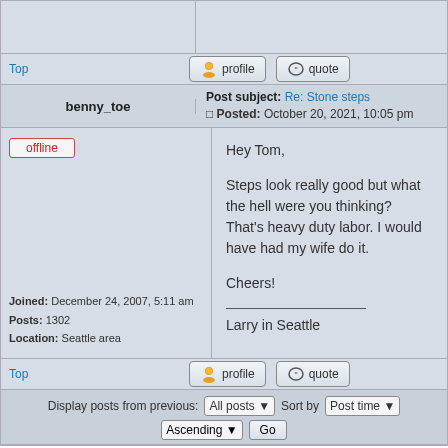Top
profile   quote
benny_toe
Post subject: Re: Stone steps  Posted: October 20, 2021, 10:05 pm
offline
Hey Tom,

Steps look really good but what the hell were you thinking? That's heavy duty labor. I would have had my wife do it.

Cheers!

Larry in Seattle
Joined: December 24, 2007, 5:11 am
Posts: 1302
Location: Seattle area
Top
profile   quote
Display posts from previous:  All posts  Sort by  Post time
Ascending  Go
Page 1 of 1  [ 10 posts ]